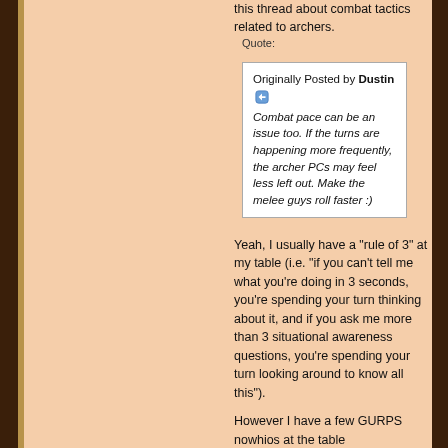this thread about combat tactics related to archers.
Quote: Originally Posted by Dustin — Combat pace can be an issue too. If the turns are happening more frequently, the archer PCs may feel less left out. Make the melee guys roll faster :)
Yeah, I usually have a "rule of 3" at my table (i.e. "if you can't tell me what you're doing in 3 seconds, you're spending your turn thinking about it, and if you ask me more than 3 situational awareness questions, you're spending your turn looking around to know all this").
However I have a few GURPS nowhios at the table